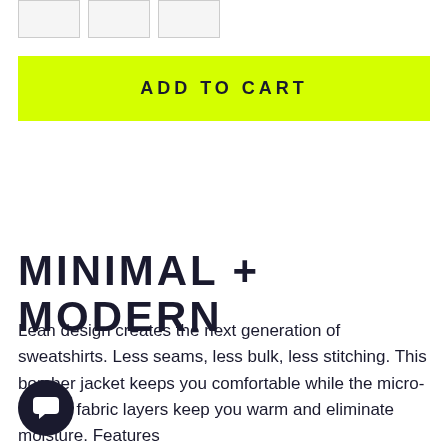[Figure (other): Three small thumbnail images in a row with light gray borders]
ADD TO CART
MINIMAL + MODERN
Lean design creates the next generation of sweatshirts. Less seams, less bulk, less stitching. This bomber jacket keeps you comfortable while the micro-climate fabric layers keep you warm and eliminate moisture. Features